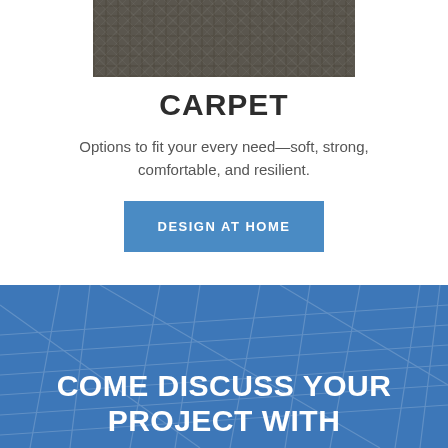[Figure (photo): Close-up photo of dark grey textured carpet fabric]
CARPET
Options to fit your every need—soft, strong, comfortable, and resilient.
DESIGN AT HOME
[Figure (illustration): Blue map/street grid background section]
COME DISCUSS YOUR PROJECT WITH